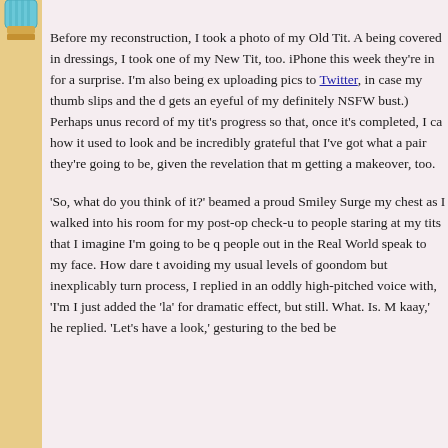[Figure (illustration): Top portion of a cupcake or decorated cup illustration visible at top of left sidebar]
Before my reconstruction, I took a photo of my Old Tit. A being covered in dressings, I took one of my New Tit, too. iPhone this week they're in for a surprise. I'm also being ex uploading pics to Twitter, in case my thumb slips and the d gets an eyeful of my definitely NSFW bust.) Perhaps unus record of my tit's progress so that, once it's completed, I ca how it used to look and be incredibly grateful that I've got what a pair they're going to be, given the revelation that m getting a makeover, too.
'So, what do you think of it?' beamed a proud Smiley Surge my chest as I walked into his room for my post-op check-u to people staring at my tits that I imagine I'm going to be q people out in the Real World speak to my face. How dare t avoiding my usual levels of goondom but inexplicably turn process, I replied in an oddly high-pitched voice with, 'I'm I just added the 'la' for dramatic effect, but still. What. Is. M kaay,' he replied. 'Let's have a look,' gesturing to the bed be